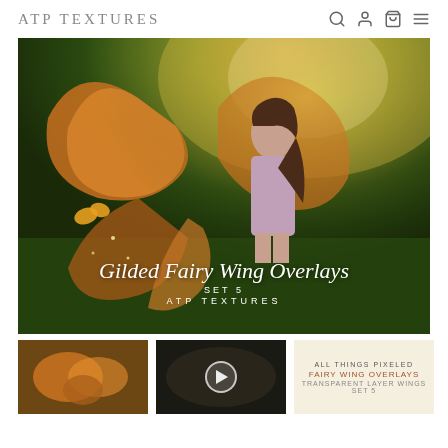ATP TEXTURES
[Figure (photo): A girl with large orange fairy wings standing in a magical forest setting. Text overlay reads 'Gilded Fairy Wing Overlays SET 5 ATP TEXTURES']
[Figure (photo): Small thumbnail showing fairy wing overlay image]
[Figure (photo): Small thumbnail with play button for video]
[Figure (other): Small thumbnail with text: ALL THINGS PIXELED, FAIRY WING OVERLAYS, TRANSPARENT LAYER WINGS SET 5]